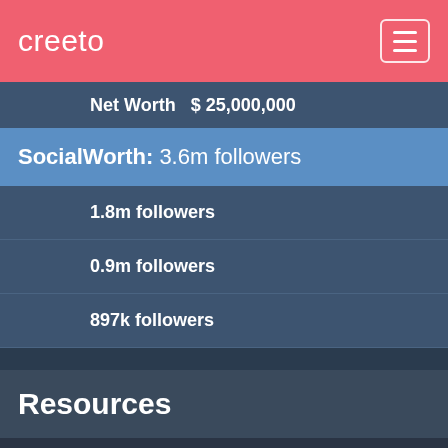creeto
Net Worth  $ 25,000,000
SocialWorth: 3.6m followers
1.8m followers
0.9m followers
897k followers
Resources
In-store pickup  Delivery  King Bed For A Queen Price Now